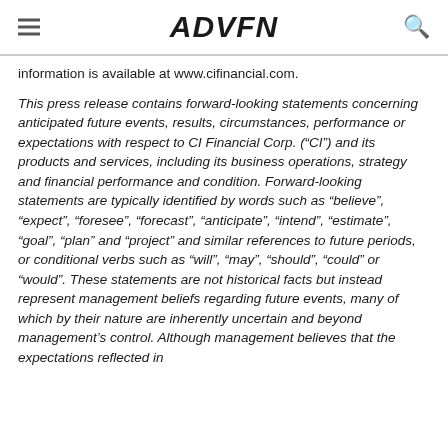ADVFN
information is available at www.cifinancial.com.
This press release contains forward-looking statements concerning anticipated future events, results, circumstances, performance or expectations with respect to CI Financial Corp. (“CI”) and its products and services, including its business operations, strategy and financial performance and condition. Forward-looking statements are typically identified by words such as “believe”, “expect”, “foresee”, “forecast”, “anticipate”, “intend”, “estimate”, “goal”, “plan” and “project” and similar references to future periods, or conditional verbs such as “will”, “may”, “should”, “could” or “would”. These statements are not historical facts but instead represent management beliefs regarding future events, many of which by their nature are inherently uncertain and beyond management’s control. Although management believes that the expectations reflected in